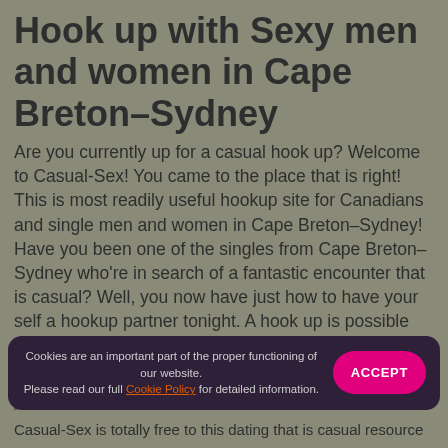Hook up with Sexy men and women in Cape Breton–Sydney
Are you currently up for a casual hook up? Welcome to Casual-Sex! You came to the place that is right! This is most readily useful hookup site for Canadians and single men and women in Cape Breton–Sydney! Have you been one of the singles from Cape Breton–Sydney who're in search of a fantastic encounter that is casual? Well, you now have just how to have your self a hookup partner tonight. A hook up is possible when you register to Casual-Sex now ! It's completely free to register!
Register Today!
Cookies are an important part of the proper functioning of our website. Please read our full Cookie Policy for detailed information.
Casual-Sex is totally free to this dating that is casual resource